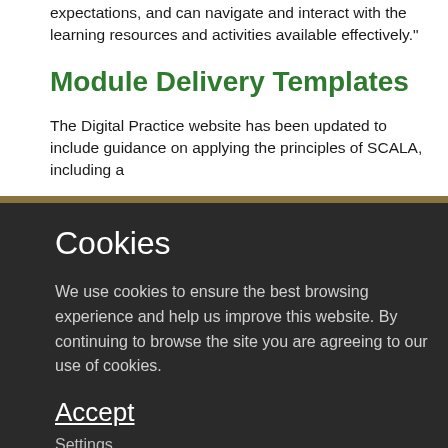expectations, and can navigate and interact with the learning resources and activities available effectively."
Module Delivery Templates
The Digital Practice website has been updated to include guidance on applying the principles of SCALA, including a
Cookies
We use cookies to ensure the best browsing experience and help us improve this website. By continuing to browse the site you are agreeing to our use of cookies.
Accept
Settings
Find out more